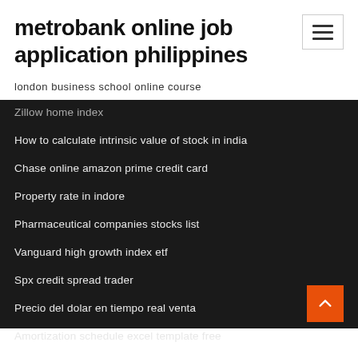metrobank online job application philippines
london business school online course
Zillow home index
How to calculate intrinsic value of stock in india
Chase online amazon prime credit card
Property rate in indore
Pharmaceutical companies stocks list
Vanguard high growth index etf
Spx credit spread trader
Precio del dolar en tiempo real venta
Amortization schedule excel template free